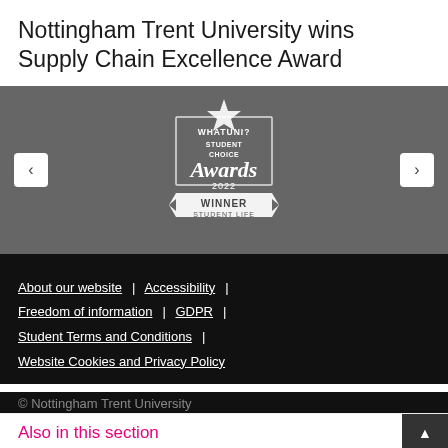Nottingham Trent University wins Supply Chain Excellence Award
[Figure (logo): WhatUni? Student Choice Awards 2022 – Winner – Student Life logo/badge on grey background, with navigation arrows on left and right]
About our website | Accessibility | Freedom of information | GDPR | Student Terms and Conditions | Website Cookies and Privacy Policy
© Nottingham Trent University
Also in this section